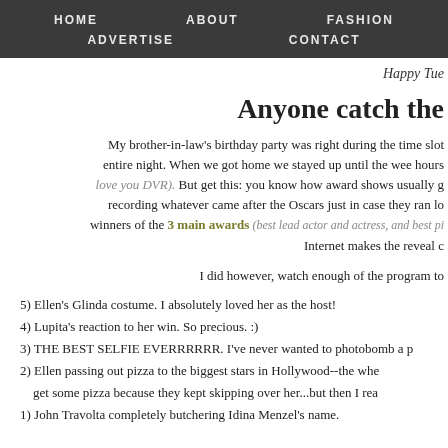HOME   ABOUT   FASHION   ADVERTISE   CONTACT
Happy Tue
Anyone catch the
My brother-in-law's birthday party was right during the time slot entire night. When we got home we stayed up until the wee hours love you DVR). But get this: you know how award shows usually g recording whatever came after the Oscars just in case they ran lo winners of the 3 main awards (best lead actor and actress, and best pi Internet makes the reveal c
I did however, watch enough of the program to
5) Ellen's Glinda costume. I absolutely loved her as the host!
4) Lupita's reaction to her win. So precious. :)
3) THE BEST SELFIE EVERRRRRR. I've never wanted to photobomb a p
2) Ellen passing out pizza to the biggest stars in Hollywood--the wh get some pizza because they kept skipping over her...but then I rea
1) John Travolta completely butchering Idina Menzel's name.